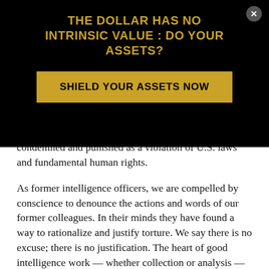THE DOLLAR HAS NO INTRINSIC VALUE : DO YOUR ASSETS?
SHIELD YOUR ASSETS NOW
condemned and punished as a violation of U.S. laws and fundamental human rights.
As former intelligence officers, we are compelled by conscience to denounce the actions and words of our former colleagues. In their minds they have found a way to rationalize and justify torture. We say there is no excuse; there is no justification. The heart of good intelligence work — whether collection or analysis — is based in the pursuit of truth, not the fabrication of a lie.
It is to this end that we reiterate that no threat, no matter how grave, should serve to justify inhuman behavior and immoral conduct or torture conducted by Americans.